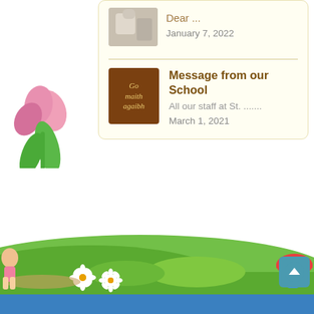Dear ...
January 7, 2022
Message from our School
All our staff at St. .......
March 1, 2021
[Figure (illustration): Colorful cartoon illustration of a green grassy hillside with flowers (daisies), a child figure on the left, and a mushroom-like figure on the right. Blue footer bar at the bottom.]